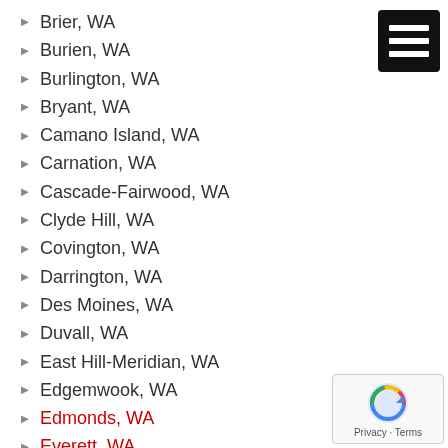Brier, WA
Burien, WA
Burlington, WA
Bryant, WA
Camano Island, WA
Carnation, WA
Cascade-Fairwood, WA
Clyde Hill, WA
Covington, WA
Darrington, WA
Des Moines, WA
Duvall, WA
East Hill-Meridian, WA
Edgemwook, WA
Edmonds, WA
Everett, WA
Fall City, WA
Federal Way, WA
Gold Bar, WA
Granite Falls, WA